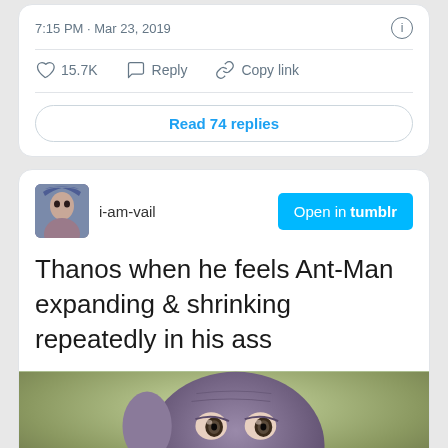7:15 PM · Mar 23, 2019
15.7K  Reply  Copy link
Read 74 replies
i-am-vail
Open in tumblr
Thanos when he feels Ant-Man expanding & shrinking repeatedly in his ass
[Figure (photo): Close-up photo of Thanos character from Avengers movie with wide surprised eyes expression, blurred green background]